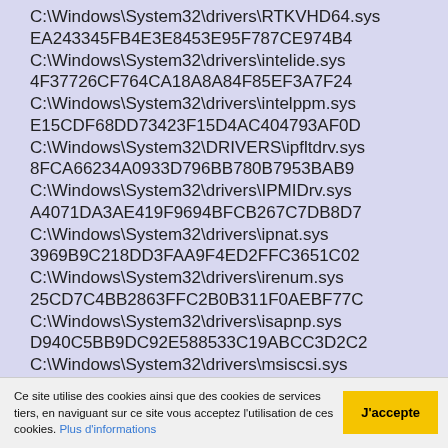C:\Windows\System32\drivers\RTKVHD64.sys
EA243345FB4E3E8453E95F787CE974B4
C:\Windows\System32\drivers\intelide.sys
4F37726CF764CA18A8A84F85EF3A7F24
C:\Windows\System32\drivers\intelppm.sys
E15CDF68DD73423F15D4AC404793AF0D
C:\Windows\System32\DRIVERS\ipfltdrv.sys
8FCA66234A0933D796BB780B7953BAB9
C:\Windows\System32\drivers\IPMIDrv.sys
A4071DA3AE419F9694BFCB267C7DB8D7
C:\Windows\System32\drivers\ipnat.sys
3969B9C218DD3FAA9F4ED2FFC3651C02
C:\Windows\System32\drivers\irenum.sys
25CD7C4BB2863FFC2B0B311F0AEBF77C
C:\Windows\System32\drivers\isapnp.sys
D940C5BB9DC92E588533C19ABCC3D2C2
C:\Windows\System32\drivers\msiscsi.sys
E6530FD4F61B40F338BF4355A21B9A09
C:\Windows\System32\drivers\kbdclass.sys
8EBD94B69D6423E20ABCD59D86368B21
Ce site utilise des cookies ainsi que des cookies de services tiers, en naviguant sur ce site vous acceptez l'utilisation de ces cookies. Plus d'informations